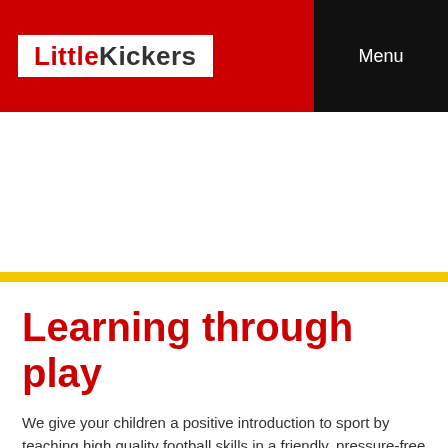LittleKickers   Menu
Learning through play
We give your children a positive introduction to sport by teaching high quality football skills in a friendly, pressure-free environment.
There are four different classes tailored specifically to the needs of children between 18 months and eight years of age.